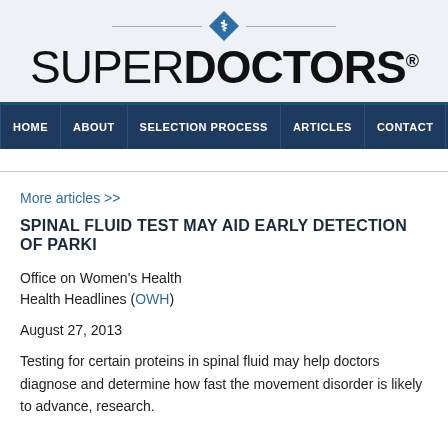[Figure (logo): Super Doctors logo with blue diamond/hexagon icon containing a caduceus symbol, horizontal rules on each side of the icon, and the text SUPERDOCTORS with a registered trademark symbol]
HOME | ABOUT | SELECTION PROCESS | ARTICLES | CONTACT | FO...
More articles >>
SPINAL FLUID TEST MAY AID EARLY DETECTION OF PARKI...
Office on Women's Health
Health Headlines (OWH)
August 27, 2013
Testing for certain proteins in spinal fluid may help doctors diagnose and determine how fast the movement disorder is likely to advance, research.